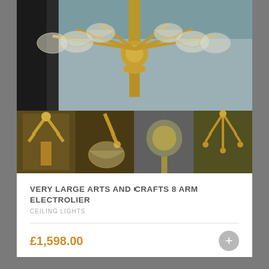[Figure (photo): Main large photo of an antique Arts and Crafts 8-arm brass electrolier chandelier with glass shades, photographed against a grey-blue fabric background]
[Figure (photo): Row of four thumbnail photos showing different angles and details of the same Arts and Crafts brass chandelier/electrolier]
VERY LARGE ARTS AND CRAFTS 8 ARM ELECTROLIER
CEILING LIGHTS
£1,598.00